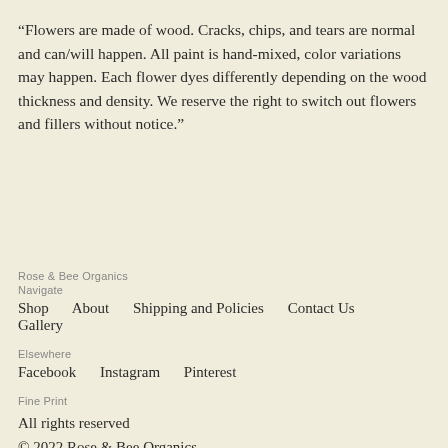“Flowers are made of wood. Cracks, chips, and tears are normal and can/will happen. All paint is hand-mixed, color variations may happen. Each flower dyes differently depending on the wood thickness and density. We reserve the right to switch out flowers and fillers without notice.”
Rose & Bee Organics
Navigate
Shop
About
Shipping and Policies
Contact Us
Gallery
Elsewhere
Facebook
Instagram
Pinterest
Fine Print
All rights reserved
© 2022 Rose & Bee Organics